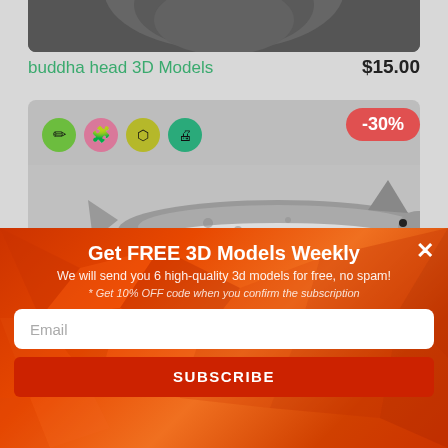[Figure (photo): Partial view of a 3D buddha head model in dark gray/stone texture, cropped at top]
buddha head 3D Models
$15.00
[Figure (infographic): Four circular icons: green pencil/tool icon, pink puzzle icon, olive 3D box icon, teal printer icon]
-30%
[Figure (photo): 3D shark model in light gray, viewed from the side, on a gray background]
Get FREE 3D Models Weekly
We will send you 6 high-quality 3d models for free, no spam!
* Get 10% OFF code when you confirm the subscription
Email
SUBSCRIBE